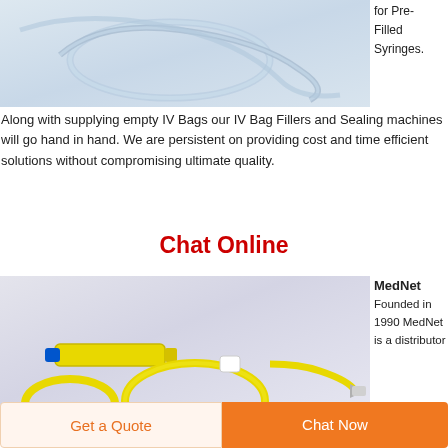[Figure (photo): Close-up photo of clear/blue medical IV tubing coiled on a light gray background]
for Pre-Filled Syringes.
Along with supplying empty IV Bags our IV Bag Fillers and Sealing machines will go hand in hand. We are persistent on providing cost and time efficient solutions without compromising ultimate quality.
Chat Online
[Figure (photo): Photo of yellow medical IV drip set tubing with connectors on a light gray/purple background]
MedNet Founded in 1990 MedNet is a distributor